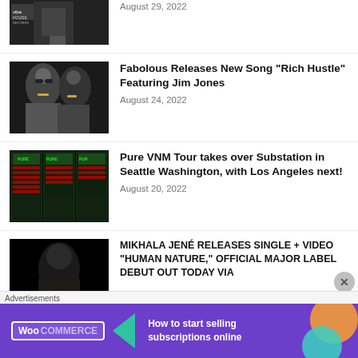[Figure (photo): Partial thumbnail of a person wearing dark clothing, standing outdoors]
August 29, 2022
[Figure (photo): Two men wearing sunglasses and jewelry, one in a white shirt]
Fabolous Releases New Song “Rich Hustle” Featuring Jim Jones
August 24, 2022
[Figure (photo): Event flyer for Pure VNM Tour showing green and red schedule grid]
Pure VNM Tour takes over Substation in Seattle Washington, with Los Angeles next!
August 20, 2022
[Figure (photo): Woman standing in front of dark background, partial view]
MIKHALA JENÉ RELEASES SINGLE + VIDEO “HUMAN NATURE,” OFFICIAL MAJOR LABEL DEBUT OUT TODAY VIA
[Figure (other): WooCommerce advertisement banner: How to start selling subscriptions online]
Advertisements